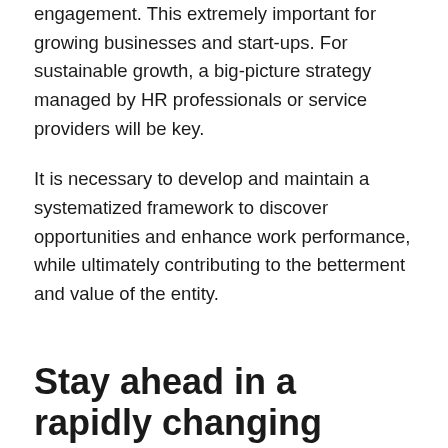engagement. This extremely important for growing businesses and start-ups. For sustainable growth, a big-picture strategy managed by HR professionals or service providers will be key.
It is necessary to develop and maintain a systematized framework to discover opportunities and enhance work performance, while ultimately contributing to the betterment and value of the entity.
Stay ahead in a rapidly changing world
The solution WP consulting came up with combined cutting edge technology with real world practicality. Everyone knew that the systems had to be updated, the